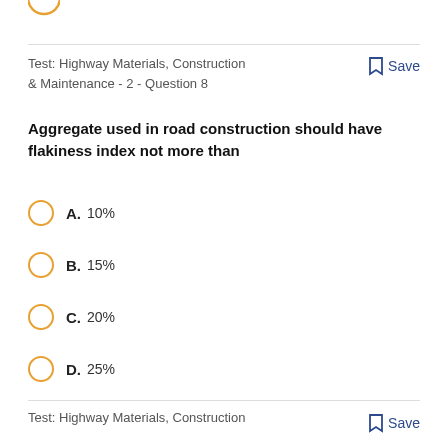Test: Highway Materials, Construction & Maintenance - 2 - Question 8
Aggregate used in road construction should have flakiness index not more than
A. 10%
B. 15%
C. 20%
D. 25%
Test: Highway Materials, Construction